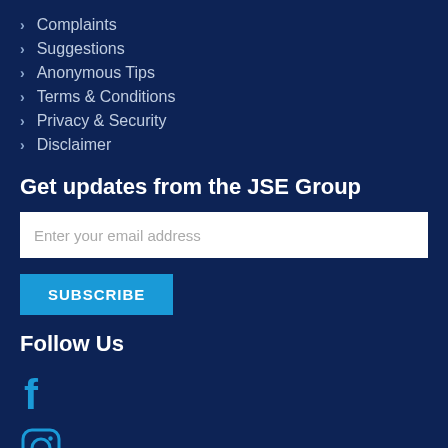Complaints
Suggestions
Anonymous Tips
Terms & Conditions
Privacy & Security
Disclaimer
Get updates from the JSE Group
Enter your email address
SUBSCRIBE
Follow Us
[Figure (illustration): Facebook icon in cyan/blue color]
[Figure (illustration): Instagram icon in cyan/blue color]